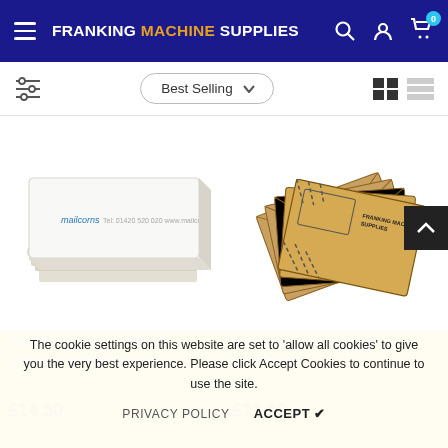FRANKING MACHINE SUPPLIES
[Figure (screenshot): Navigation sort bar with filter icon, Best Selling dropdown, grid and list view icons]
[Figure (photo): Stack of white franking machine labels/tape (500 Pitney Bowes DM100 Series Franking Machine)]
[Figure (photo): Fan of brown kraft envelope cards labelled Franking Machine Supplies with meter postage area (50 Late Meter Posting Envelopes)]
500 Pitney Bowes DM100 Series Franking Machine
50 Late Meter Posting Envelopes
£14.50
£11.50
The cookie settings on this website are set to 'allow all cookies' to give you the very best experience. Please click Accept Cookies to continue to use the site.
PRIVACY POLICY   ACCEPT ✔